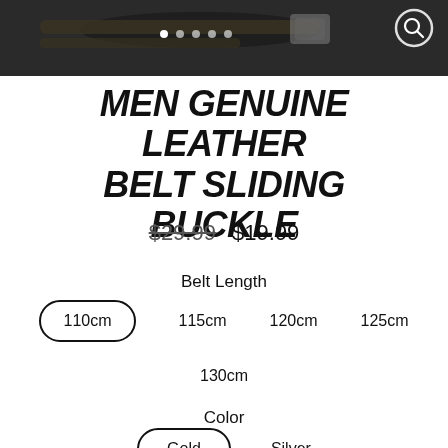[Figure (photo): Product hero image of a men's leather belt with sliding buckle against dark background]
MEN GENUINE LEATHER BELT SLIDING BUCKLE
$29.99  $19.99
Belt Length
110cm (selected)
115cm
120cm
125cm
130cm
Color
Gold (selected)
Silver